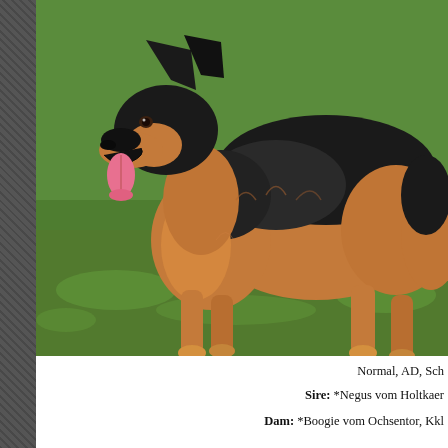[Figure (photo): A German Shepherd dog standing on green grass, photographed in profile from the right side. The dog has a black and tan coat, ears erect, mouth open with tongue out.]
Normal, AD, Sch
Sire: *Negus vom Holtkaer
Dam: *Boogie vom Ochsentor, Kkl